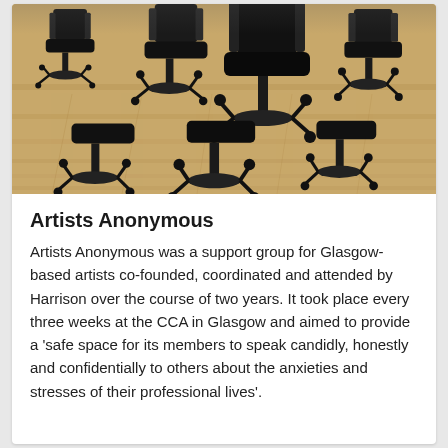[Figure (photo): Photograph of multiple black office chairs scattered on a warm wooden floor, viewed from behind, in a gallery or open room setting.]
Artists Anonymous
Artists Anonymous was a support group for Glasgow-based artists co-founded, coordinated and attended by Harrison over the course of two years. It took place every three weeks at the CCA in Glasgow and aimed to provide a ‘safe space for its members to speak candidly, honestly and confidentially to others about the anxieties and stresses of their professional lives’.